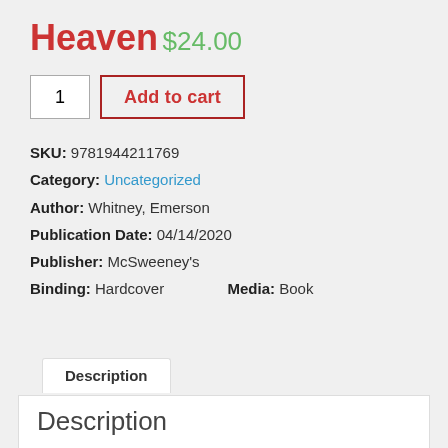Heaven
$24.00
1  Add to cart
SKU: 9781944211769
Category: Uncategorized
Author: Whitney, Emerson
Publication Date: 04/14/2020
Publisher: McSweeney's
Binding: Hardcover   Media: Book
Description
Description